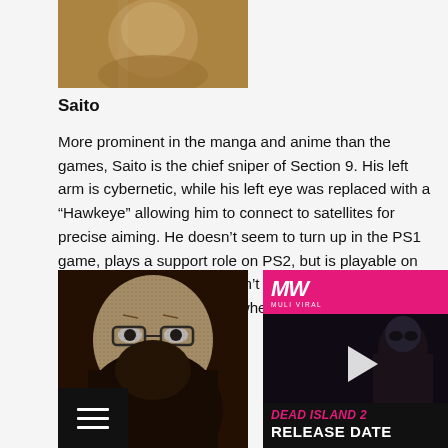[Figure (photo): Cropped image of Saito character, warm golden/brown tones showing a face]
Saito
More prominent in the manga and anime than the games, Saito is the chief sniper of Section 9. His left arm is cybernetic, while his left eye was replaced with a “Hawkeye” allowing him to connect to satellites for precise aiming. He doesn’t seem to turn up in the PS1 game, plays a support role on PS2, but is playable on PSP. Unfortunately he doesn’t seem to offer any advantage over the others when using sniper weapons.
[Figure (illustration): Black and white manga-style illustration of a bearded male character]
[Figure (screenshot): MW (Muli Viral) advertisement panel for Dead Island 2 Release Date video]